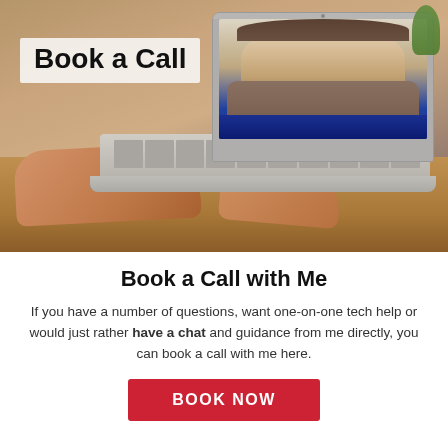[Figure (photo): A person typing on a laptop. On the laptop screen is a woman smiling/laughing during a video call. A text overlay box reads 'Book a Call'. The scene is set on a wooden desk. A plant is visible in the top right background.]
Book a Call with Me
If you have a number of questions, want one-on-one tech help or would just rather have a chat and guidance from me directly, you can book a call with me here.
BOOK NOW